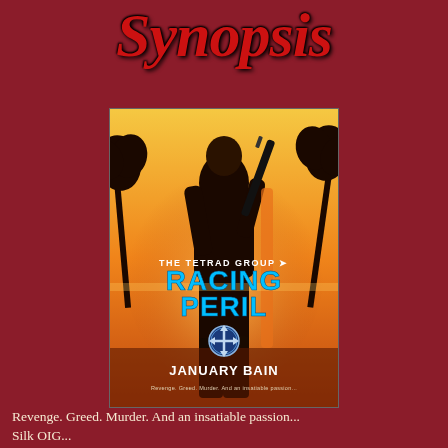Synopsis
[Figure (illustration): Book cover for 'Racing Peril' by January Bain, part of The Tetrad Group series. Shows a silhouetted male figure holding a rifle against an orange/golden sunset background with palm trees. Title 'RACING PERIL' in large cyan/blue letters, 'THE TETRAD GROUP' above it, a blue T logo emblem below, and 'JANUARY BAIN' at the bottom. Tagline: 'Revenge. Greed. Murder. And an insatiable passion...']
Revenge. Greed. Murder. And an insatiable passion...
Silk OIG...